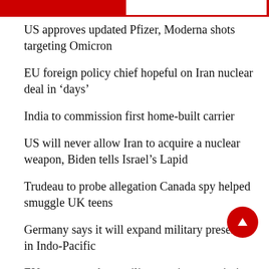US approves updated Pfizer, Moderna shots targeting Omicron
EU foreign policy chief hopeful on Iran nuclear deal in ‘days’
India to commission first home-built carrier
US will never allow Iran to acquire a nuclear weapon, Biden tells Israel’s Lapid
Trudeau to probe allegation Canada spy helped smuggle UK teens
Germany says it will expand military presence in Indo-Pacific
EU to start work on military assistance mission for Ukraine: top diplomat
US says Russia receives Iranian combat drones, many